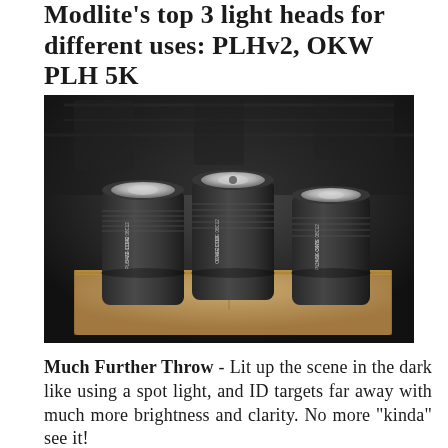Modlite's top 3 light heads for different uses: PLHv2, OKW & PLH 5K
[Figure (photo): Three black cylindrical flashlight heads (PLHv2, OKW, PLH 5K) sitting on top of a cardboard box, photographed against a dark background. Each unit has small white text printed on the side with model number and CAGE code.]
Much Further Throw - Lit up the scene in the dark like using a spot light, and ID targets far away with much more brightness and clarity. No more "kinda" see it!